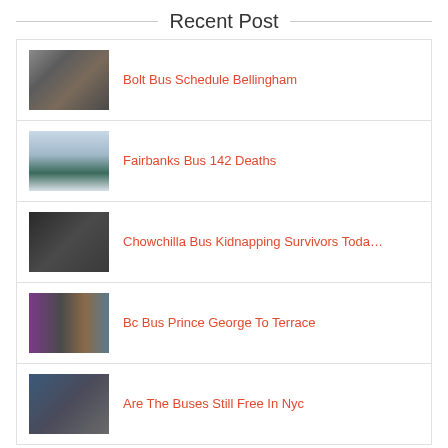Recent Post
Bolt Bus Schedule Bellingham
Fairbanks Bus 142 Deaths
Chowchilla Bus Kidnapping Survivors Toda…
Bc Bus Prince George To Terrace
Are The Buses Still Free In Nyc